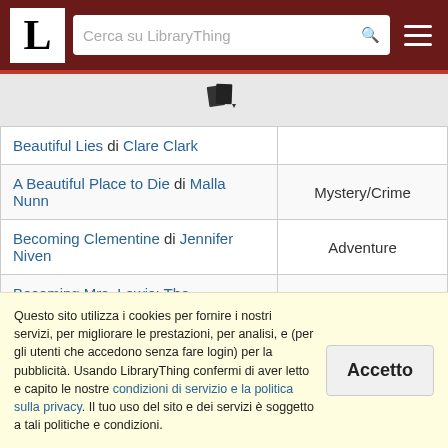LibraryThing — Cerca su LibraryThing
[Figure (logo): LibraryThing logo with book icon and dropdown arrow]
| Titolo | Genere |
| --- | --- |
| Beautiful Lies di Clare Clark |  |
| A Beautiful Place to Die di Malla Nunn | Mystery/Crime |
| Becoming Clementine di Jennifer Niven | Adventure |
| Becoming Mrs. Lewis: The Improbable Love Story of Joy Davidman and C.S. Lewis di Patti Callahan |  |
Questo sito utilizza i cookies per fornire i nostri servizi, per migliorare le prestazioni, per analisi, e (per gli utenti che accedono senza fare login) per la pubblicità. Usando LibraryThing confermi di aver letto e capito le nostre condizioni di servizio e la politica sulla privacy. Il tuo uso del sito e dei servizi è soggetto a tali politiche e condizioni.